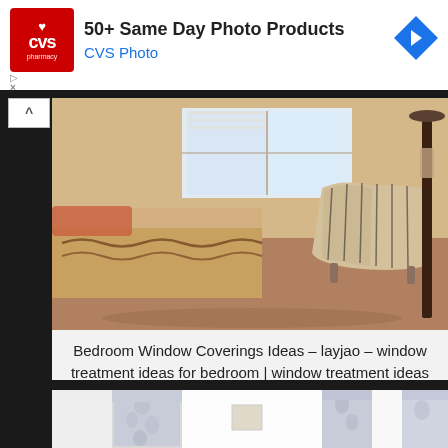[Figure (screenshot): CVS Pharmacy advertisement banner with red logo, text '50+ Same Day Photo Products' and 'CVS Photo', and a blue navigation arrow icon on the right]
[Figure (photo): Bedroom interior with a striped accent chair, bed with patterned bedding, windows with blinds, and a dark wooden floor lamp]
Bedroom Window Coverings Ideas – layjao – window treatment ideas for bedroom | window treatment ideas for bedroom
[Figure (photo): Bedroom with white and grey patterned curtains and valances on multiple windows]